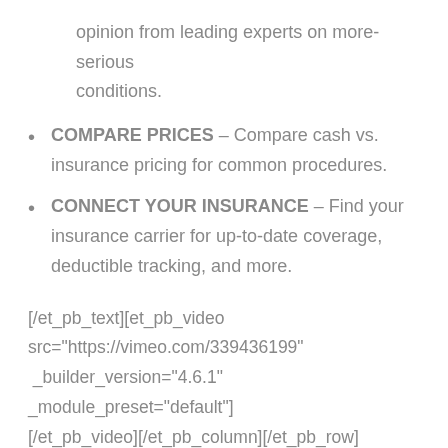opinion from leading experts on more-serious conditions.
COMPARE PRICES – Compare cash vs. insurance pricing for common procedures.
CONNECT YOUR INSURANCE – Find your insurance carrier for up-to-date coverage, deductible tracking, and more.
[/et_pb_text][et_pb_video src="https://vimeo.com/339436199" _builder_version="4.6.1" _module_preset="default"] [/et_pb_video][/et_pb_column][/et_pb_row] [/et_pb_section]